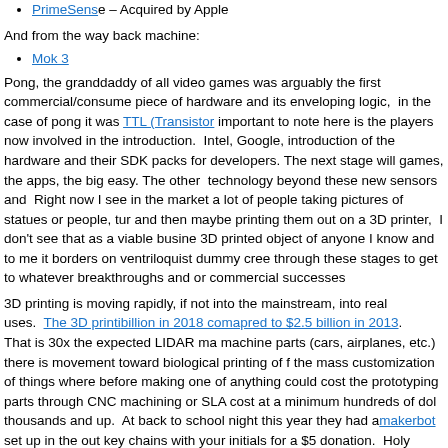PrimeSense – Acquired by Apple
And from the way back machine:
Mok 3
Pong, the granddaddy of all video games was arguably the first commercial/consume piece of hardware and its enveloping logic, in the case of pong it was TTL (Transistor important to note here is the players now involved in the introduction. Intel, Google, introduction of the hardware and their SDK packs for developers. The next stage will games, the apps, the big easy. The other technology beyond these new sensors and Right now I see in the market a lot of people taking pictures of statues or people, tur and then maybe printing them out on a 3D printer, I don't see that as a viable busine 3D printed object of anyone I know and to me it borders on ventriloquist dummy cree through these stages to get to whatever breakthroughs and or commercial successes
3D printing is moving rapidly, if not into the mainstream, into real uses. The 3D printing billion in 2018 compared to $2.5 billion in 2013. That is 30x the expected LIDAR ma machine parts (cars, airplanes, etc.) there is movement toward biological printing of f the mass customization of things where before making one of anything could cost the prototyping parts through CNC machining or SLA cost at a minimum hundreds of dol thousands and up. At back to school night this year they had a makerbot set up in the out key chains with your initials for a $5 donation. Holy What? Really? How about 3 help someone after the original was smashed in an accident. But 5 bucks for a custo
So what's the next step in the 3D scanning world now that people can start getting th dollars, opposed the LIDAR systems that start around $50K. You and your friends sc map pack for Call of Duty. 3D virtual tours of the Louvre. 3D estimating of car dam